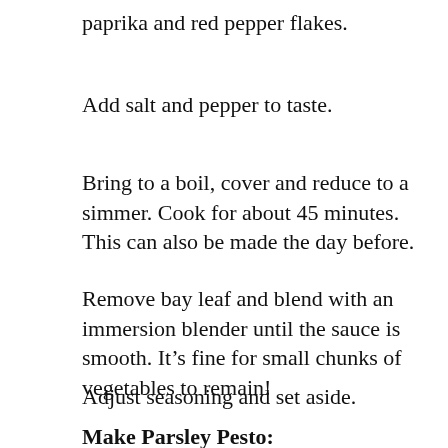paprika and red pepper flakes.
Add salt and pepper to taste.
Bring to a boil, cover and reduce to a simmer. Cook for about 45 minutes. This can also be made the day before.
Remove bay leaf and blend with an immersion blender until the sauce is smooth. It’s fine for small chunks of vegetables to remain!
Adjust seasoning and set aside.
Make Parsley Pesto: